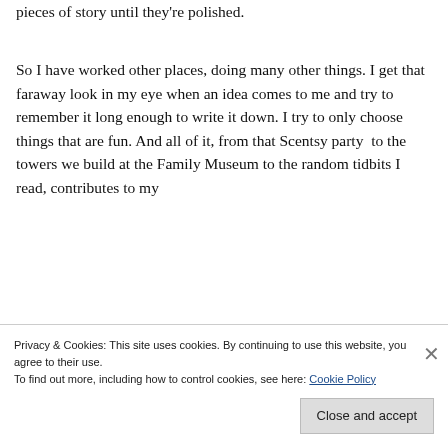pieces of story until they're polished.
So I have worked other places, doing many other things. I get that faraway look in my eye when an idea comes to me and try to remember it long enough to write it down. I try to only choose things that are fun. And all of it, from that Scentsy party  to the towers we build at the Family Museum to the random tidbits I read, contributes to my
Privacy & Cookies: This site uses cookies. By continuing to use this website, you agree to their use.
To find out more, including how to control cookies, see here: Cookie Policy
Close and accept